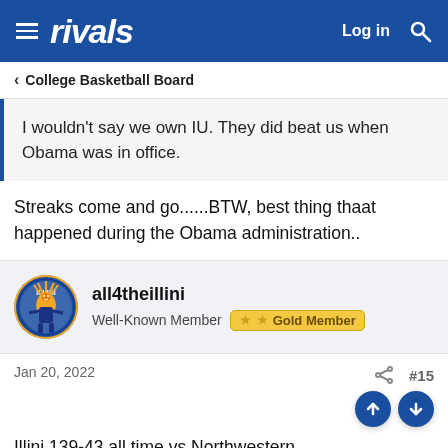rivals — Log in [search]
< College Basketball Board
I wouldn't say we own IU. They did beat us when Obama was in office.
Streaks come and go......BTW, best thing thaat happened during the Obama administration..
all4theillini
Well-Known Member  Gold Member
Jan 20, 2022
#15
Illini 139-43 all time vs Northwestern.